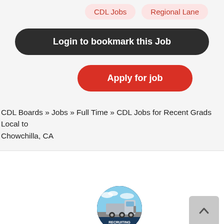CDL Jobs
Regional Lane
Login to bookmark this Job
Apply for job
CDL Boards » Jobs » Full Time » CDL Jobs for Recent Grads Local to Chowchilla, CA
[Figure (logo): Circular logo with a semi-truck and text for a CDL recruiting company]
[Figure (other): Grey scroll-to-top button with upward chevron arrow]